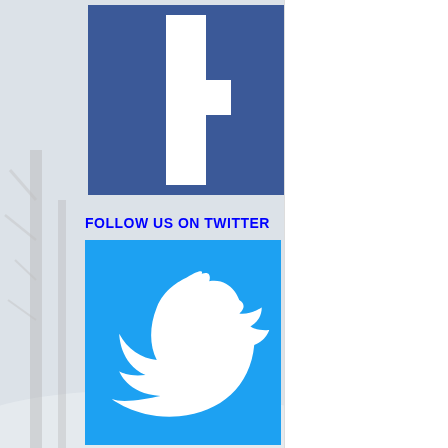[Figure (logo): Facebook logo - blue square background with white letter F]
FOLLOW US ON TWITTER
[Figure (logo): Twitter logo - light blue square background with white Twitter bird]
We will announce ou that. Our Star of the sponsoring this even
So, down to the cre
sorry, for th